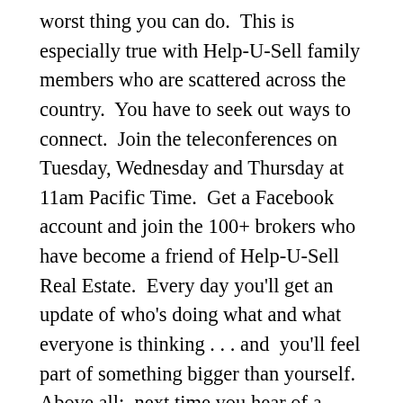worst thing you can do. This is especially true with Help-U-Sell family members who are scattered across the country. You have to seek out ways to connect. Join the teleconferences on Tuesday, Wednesday and Thursday at 11am Pacific Time. Get a Facebook account and join the 100+ brokers who have become a friend of Help-U-Sell Real Estate. Every day you'll get an update of who's doing what and what everyone is thinking . . . and you'll feel part of something bigger than yourself. Above all: next time you hear of a Help-U-Sell rally near your home, make reservations and get to it. Really: a day spent in a Help-U-Sell rally is better than a whole bottle of Valium!